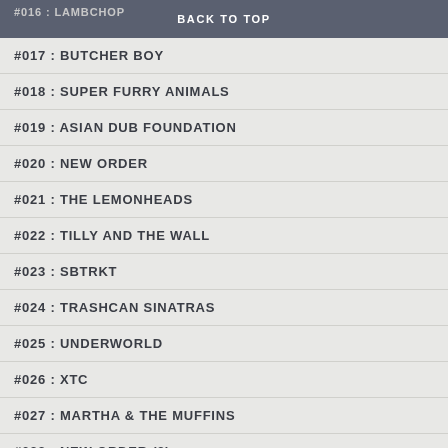#016 : LAMBCHOP | BACK TO TOP
#017 : BUTCHER BOY
#018 : SUPER FURRY ANIMALS
#019 : ASIAN DUB FOUNDATION
#020 : NEW ORDER
#021 : THE LEMONHEADS
#022 : TILLY AND THE WALL
#023 : SBTRKT
#024 : TRASHCAN SINATRAS
#025 : UNDERWORLD
#026 : XTC
#027 : MARTHA & THE MUFFINS
#028 : NEW ORDER (2)